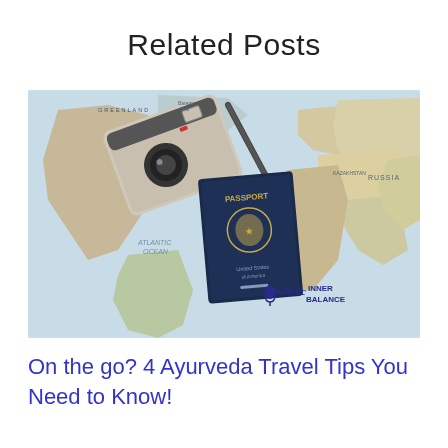Related Posts
[Figure (photo): A vintage camera and a US passport laid on top of a world map, with a watermark reading 'holistic inner balance' in the bottom right corner.]
On the go? 4 Ayurveda Travel Tips You Need to Know!